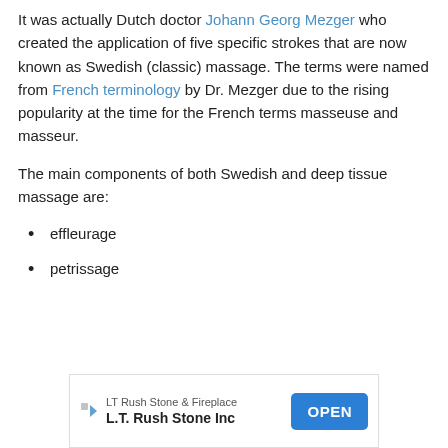It was actually Dutch doctor Johann Georg Mezger who created the application of five specific strokes that are now known as Swedish (classic) massage. The terms were named from French terminology by Dr. Mezger due to the rising popularity at the time for the French terms masseuse and masseur.
The main components of both Swedish and deep tissue massage are:
effleurage
petrissage
[Figure (other): Advertisement for LT Rush Stone & Fireplace / L.T. Rush Stone Inc with an OPEN button]